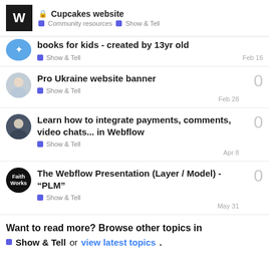Cupcakes website · Community resources · Show & Tell
books for kids - created by 13yr old · Show & Tell · Feb 16
Pro Ukraine website banner · Show & Tell · Feb 28 · 0 replies
Learn how to integrate payments, comments, video chats... in Webflow · Show & Tell · Apr 8 · 0 replies
The Webflow Presentation (Layer / Model) - "PLM" · Show & Tell · May 31 · 0 replies
Want to read more? Browse other topics in Show & Tell or view latest topics.